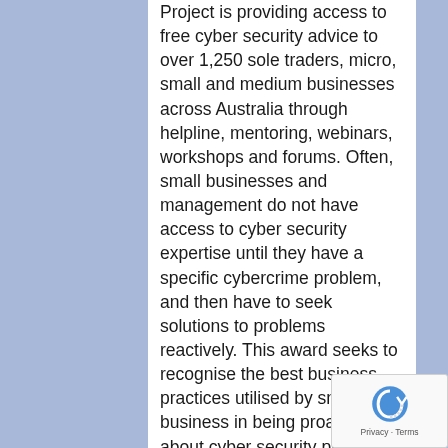Project is providing access to free cyber security advice to over 1,250 sole traders, micro, small and medium businesses across Australia through helpline, mentoring, webinars, workshops and forums.  Often, small businesses  and management do not have access to cyber security expertise until they have a specific  cybercrime problem, and then have to seek solutions to problems reactively. This award seeks to recognise the best business practices utilised by small business in being proactive about cyber  security practices. The MBI Cyber Security